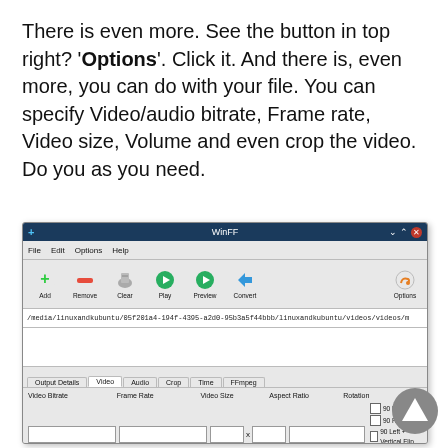There is even more. See the button in top right? 'Options'. Click it. And there is, even more, you can do with your file. You can specify Video/audio bitrate, Frame rate, Video size, Volume and even crop the video. Do you as you need.
[Figure (screenshot): WinFF application window showing toolbar with Add, Remove, Clear, Play, Preview, Convert and Options buttons, a file path bar, and Video options panel with Video Bitrate, Frame Rate, Video Size, Aspect Ratio, Rotation fields and tabs: Output Details, Video, Audio, Crop, Time, FFmpeg.]